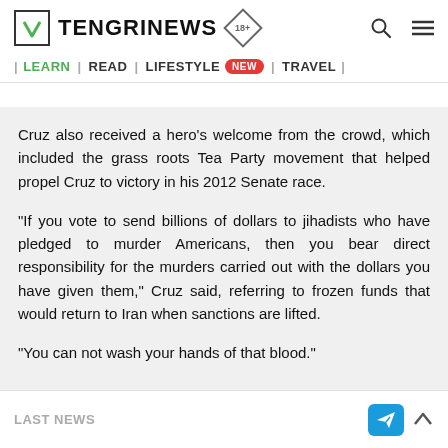TENGRINEWS | LEARN | READ | LIFESTYLE NEW | TRAVEL
Cruz also received a hero's welcome from the crowd, which included the grass roots Tea Party movement that helped propel Cruz to victory in his 2012 Senate race.
"If you vote to send billions of dollars to jihadists who have pledged to murder Americans, then you bear direct responsibility for the murders carried out with the dollars you have given them," Cruz said, referring to frozen funds that would return to Iran when sanctions are lifted.
"You can not wash your hands of that blood."
LAST NEWS